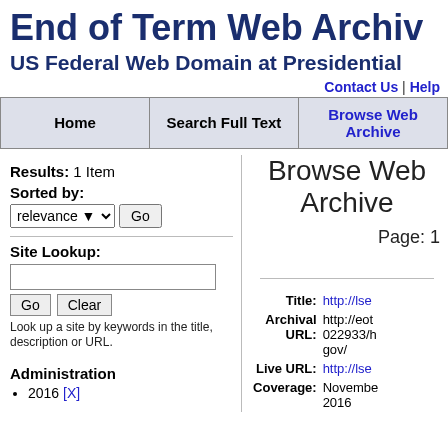End of Term Web Archive
US Federal Web Domain at Presidential
Contact Us | Help
| Home | Search Full Text | Browse Web Archive |
| --- | --- | --- |
Results: 1 Item
Browse Web Archive
Page: 1
Sorted by: relevance Go
Site Lookup:
Go  Clear
Look up a site by keywords in the title, description or URL.
Administration
2016 [X]
Title: http://lse
Archival URL: http://eot 022933/h gov/
Live URL: http://lse
Coverage: November 2016